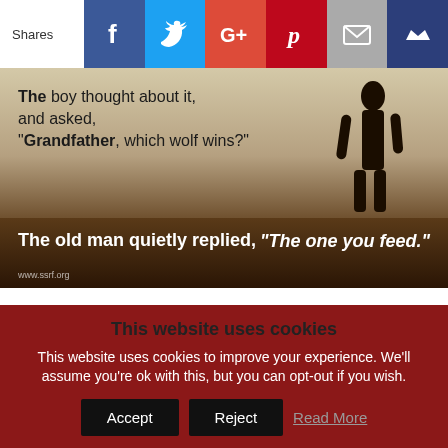Shares | Facebook | Twitter | Google+ | Pinterest | Email | Crown
[Figure (photo): Inspirational image with a silhouette of a boy and grandfather against a horizon. Text overlay reads: 'The boy thought about it, and asked, "Grandfather, which wolf wins?"' and 'The old man quietly replied, "The one you feed."' Watermark: www.ssrf.org]
Perfection is the enemy. It gives you a false state of security. Nothing is truly perfect. You CAN build a body that looks great through pretty boy training but you will not develop the
This website uses cookies
This website uses cookies to improve your experience. We'll assume you're ok with this, but you can opt-out if you wish.
Accept | Reject | Read More